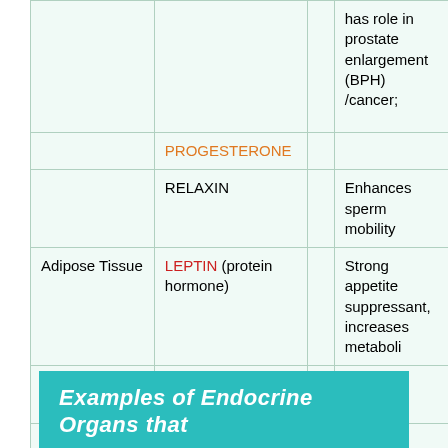|  |  |  | has role in prostate enlargement (BPH) /cancer; |
|  | PROGESTERONE |  |  |
|  | RELAXIN |  | Enhances sperm mobility |
| Adipose Tissue | LEPTIN (protein hormone) |  | Strong appetite suppressant, increases metaboli |
|  | ADIPONECTIN, RESISTIN |  |  |
| Hair Follicles | DHT |  |  |
|  |  |  |  |
| Prostate gland | DHT |  |  |
Examples of Endocrine Organs that